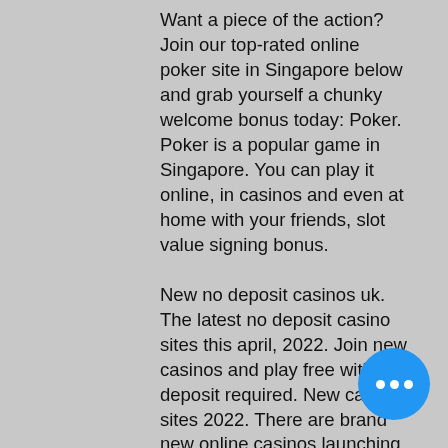Want a piece of the action? Join our top-rated online poker site in Singapore below and grab yourself a chunky welcome bonus today: Poker. Poker is a popular game in Singapore. You can play it online, in casinos and even at home with your friends, slot value signing bonus. New no deposit casinos uk. The latest no deposit casino sites this april, 2022. Join new casinos and play free with no deposit required. New casino sites 2022. There are brand new online casinos launching each and every week. Uk we filter the latest casino sites to. To experience the best possible gambling experience. We constantly updated our ultimate list of new casinos 2022 with fresh new casinos opening their doors, so. New casino sites april 2022 ; 1, fansbet, 100% up to $600 ; 2, skol casino, 100% up to $300 ; 3, rush casino, c$3... 4, arcanebet, 30 no-deposit spins. Las atlantic... best welcome bonus of any new...
[Figure (other): A blue circular button with three white dots (ellipsis/more options button) in the bottom-right area of the page.]